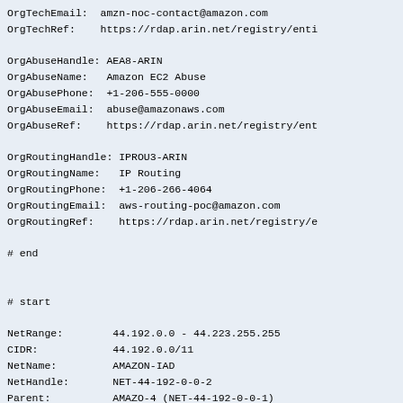OrgTechEmail:  amzn-noc-contact@amazon.com
OrgTechRef:    https://rdap.arin.net/registry/enti

OrgAbuseHandle: AEA8-ARIN
OrgAbuseName:   Amazon EC2 Abuse
OrgAbusePhone:  +1-206-555-0000
OrgAbuseEmail:  abuse@amazonaws.com
OrgAbuseRef:    https://rdap.arin.net/registry/ent

OrgRoutingHandle: IPROU3-ARIN
OrgRoutingName:   IP Routing
OrgRoutingPhone:  +1-206-266-4064
OrgRoutingEmail:  aws-routing-poc@amazon.com
OrgRoutingRef:    https://rdap.arin.net/registry/e

# end


# start

NetRange:        44.192.0.0 - 44.223.255.255
CIDR:            44.192.0.0/11
NetName:         AMAZON-IAD
NetHandle:       NET-44-192-0-0-2
Parent:          AMAZO-4 (NET-44-192-0-0-1)
NetType:         Reallocated
OriginAS:
Organization:    Amazon Data Services NoVa (ADSN-1)
RegDate: